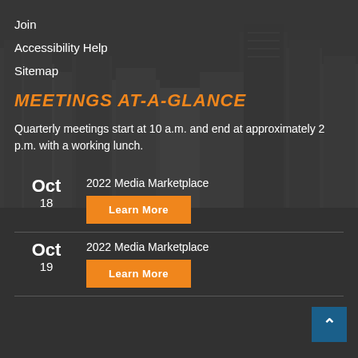Join
Accessibility Help
Sitemap
MEETINGS AT-A-GLANCE
Quarterly meetings start at 10 a.m. and end at approximately 2 p.m. with a working lunch.
Oct 18 — 2022 Media Marketplace — Learn More
Oct 19 — 2022 Media Marketplace — Learn More